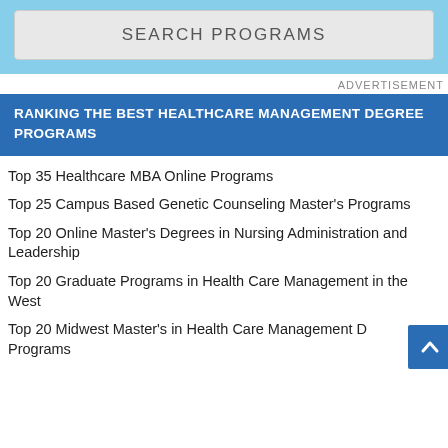[Figure (screenshot): Search programs input box with light blue background]
ADVERTISEMENT
RANKING THE BEST HEALTHCARE MANAGEMENT DEGREE PROGRAMS
Top 35 Healthcare MBA Online Programs
Top 25 Campus Based Genetic Counseling Master's Programs
Top 20 Online Master's Degrees in Nursing Administration and Leadership
Top 20 Graduate Programs in Health Care Management in the West
Top 20 Midwest Master's in Health Care Management Degree Programs